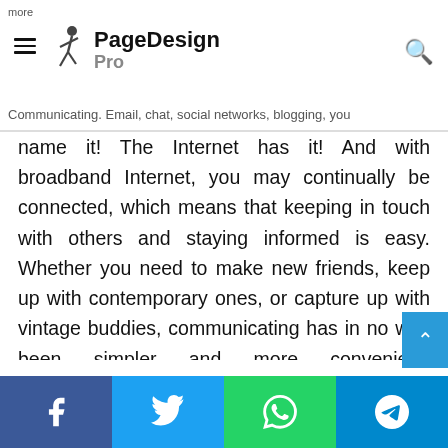more | PageDesign Pro
Communicating. Email, chat, social networks, blogging, you name it! The Internet has it! And with broadband Internet, you may continually be connected, which means that keeping in touch with others and staying informed is easy. Whether you need to make new friends, keep up with contemporary ones, or capture up with vintage buddies, communicating has in no way been simpler and more convenient! Entertainment: Broadband Internet is an excellent source for amusement and enjoyment. You can lease and download movies in place of going to your neighborhood video apartment store. You can play excessive-graphic satisfactory video games that make you feel like you're proper there in the movement. You can listen to music streaming stay from your preferred radio station-or download it from a tuning shop. You can watch home
Facebook Twitter WhatsApp Telegram